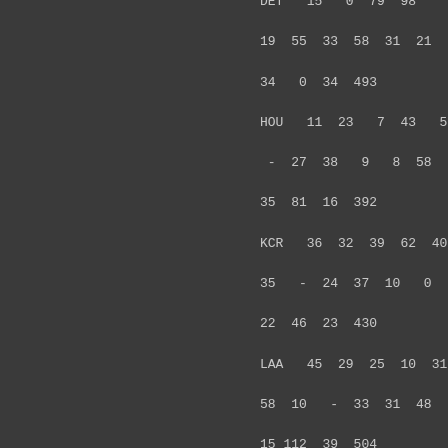DET   15   0  79  98    -
19  55  33  58  31  21  16
34   0  34  493
HOU   11  23   7  43   5
-   27  38   9   8  58  31
35  81  16  392
KCR   36  32  39  62  40
35   -  24  37  10   0  24
22  46  23  430
LAA   45  29  25  10  31
58  10   -  33  31  48  18
15 112  39  504
MIN   36  12  65  62  68
19  42  28   –  59  32  35
12  20  33  523
NYY  109  49   0   9  52
9   9  47  38   -   4  28
40  38  40  472
OAK   56  11  14  16  35
146   0  67  50  19   -